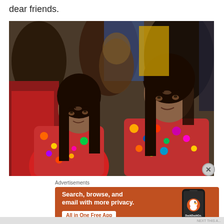dear friends.
[Figure (photo): Group of indigenous women wearing colorful traditional clothing (huipiles) at what appears to be a cultural gathering or festival. Two women are prominently in the foreground with long dark hair, wearing vibrant multicolored garments.]
Advertisements
[Figure (screenshot): DuckDuckGo advertisement banner with orange background. Text reads: Search, browse, and email with more privacy. All in One Free App. Shows a smartphone with the DuckDuckGo logo and app icon.]